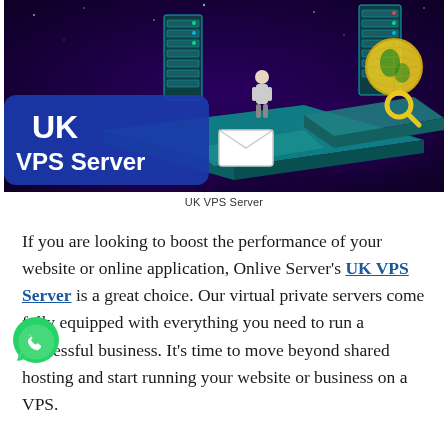[Figure (illustration): UK VPS Server promotional illustration: dark purple/space background with teal isometric server racks, a figure standing between servers, a globe with a magnifying glass, an envelope/email icon, with text 'UK VPS Server' overlaid on a blue banner in the lower-left]
UK VPS Server
If you are looking to boost the performance of your website or online application, Onlive Server's UK VPS Server is a great choice. Our virtual private servers come fully equipped with everything you need to run a successful business. It's time to move beyond shared hosting and start running your website or business on a VPS.